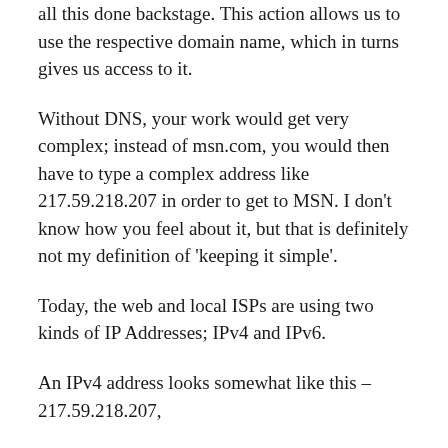all this done backstage. This action allows us to use the respective domain name, which in turns gives us access to it.
Without DNS, your work would get very complex; instead of msn.com, you would then have to type a complex address like 217.59.218.207 in order to get to MSN. I don't know how you feel about it, but that is definitely not my definition of 'keeping it simple'.
Today, the web and local ISPs are using two kinds of IP Addresses; IPv4 and IPv6.
An IPv4 address looks somewhat like this – 217.59.218.207,
and an IPv6 address looks like this –